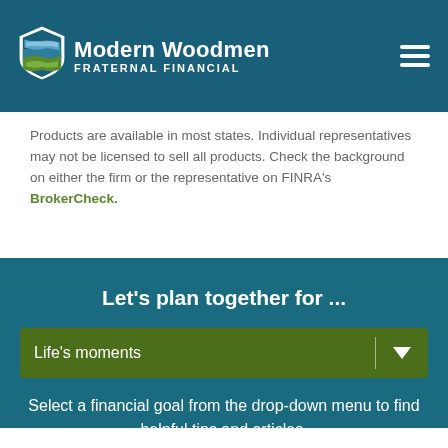Modern Woodmen FRATERNAL FINANCIAL
Products are available in most states. Individual representatives may not be licensed to sell all products. Check the background on either the firm or the representative on FINRA's BrokerCheck.
Let's plan together for ...
[Figure (screenshot): Green dropdown selector showing 'Life's moments' with a down arrow]
Select a financial goal from the drop-down menu to find helpful tips and articles.